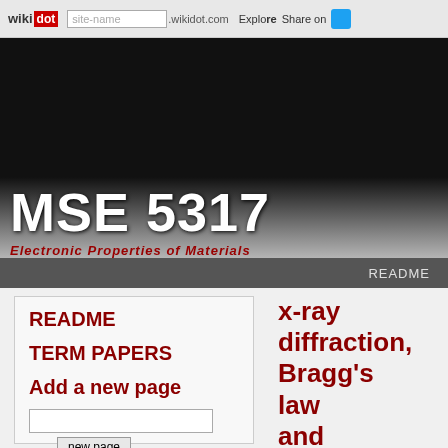wiki dot .wikidot.com Explore Share on
MSE 5317
Electronic Properties of Materials
README
README
TERM PAPERS
Add a new page
Page tags
x-ray diffraction, Bragg's law and Laue equation
1. x-ray